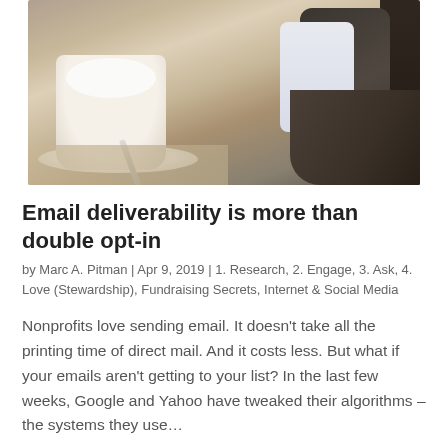[Figure (photo): Overhead view of a coffee cup with foam on a saucer with a spoon, next to a person's hand holding a smartphone, on a wooden table. Dark sleeve visible on the right.]
Email deliverability is more than double opt-in
by Marc A. Pitman | Apr 9, 2019 | 1. Research, 2. Engage, 3. Ask, 4. Love (Stewardship), Fundraising Secrets, Internet & Social Media
Nonprofits love sending email. It doesn’t take all the printing time of direct mail. And it costs less. But what if your emails aren’t getting to your list? In the last few weeks, Google and Yahoo have tweaked their algorithms – the systems they use…